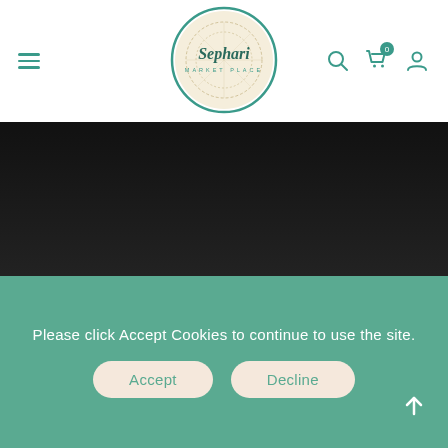[Figure (logo): Sephari Market Place circular logo with ornate interior design and teal border]
[Figure (photo): Decorative wooden boat model with intricate carved ornamentation on black background]
Please click Accept Cookies to continue to use the site.
Accept
Decline